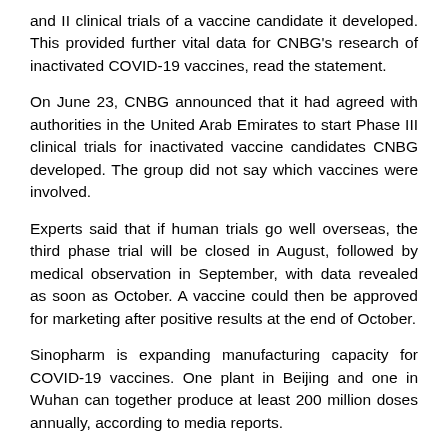and II clinical trials of a vaccine candidate it developed. This provided further vital data for CNBG's research of inactivated COVID-19 vaccines, read the statement.
On June 23, CNBG announced that it had agreed with authorities in the United Arab Emirates to start Phase III clinical trials for inactivated vaccine candidates CNBG developed. The group did not say which vaccines were involved.
Experts said that if human trials go well overseas, the third phase trial will be closed in August, followed by medical observation in September, with data revealed as soon as October. A vaccine could then be approved for marketing after positive results at the end of October.
Sinopharm is expanding manufacturing capacity for COVID-19 vaccines. One plant in Beijing and one in Wuhan can together produce at least 200 million doses annually, according to media reports.
The plant in Beijing is the largest manufacturing center for COVID-19 vaccines worldwide, reports said.